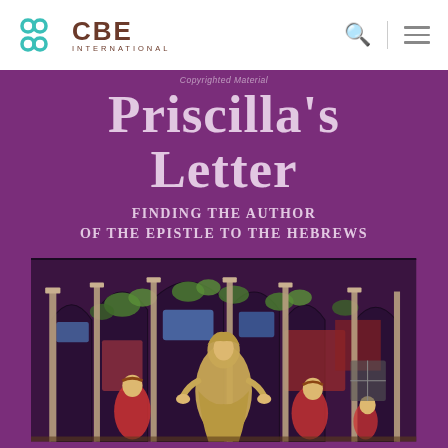[Figure (logo): CBE International logo with teal infinity/hourglass icon and brown CBE INTERNATIONAL text]
[Figure (illustration): Book cover for 'Priscilla's Letter: Finding the Author of the Epistle to the Hebrews' — purple background with large serif title text and a stained glass window illustration showing a robed female figure surrounded by other figures and Gothic architectural elements]